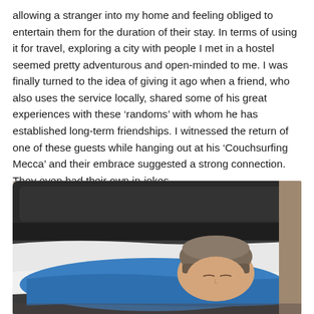allowing a stranger into my home and feeling obliged to entertain them for the duration of their stay. In terms of using it for travel, exploring a city with people I met in a hostel seemed pretty adventurous and open-minded to me. I was finally turned to the idea of giving it ago when a friend, who also uses the service locally, shared some of his great experiences with these ‘randoms’ with whom he has established long-term friendships. I witnessed the return of one of these guests while hanging out at his ‘Couchsurfing Mecca’ and their embrace suggested a strong connection. They even had their own in-jokes.
[Figure (photo): A person sleeping on a dark leather couch, wearing a blue jacket and a grey/brown knit beanie hat, with white bedding. Indoor setting.]